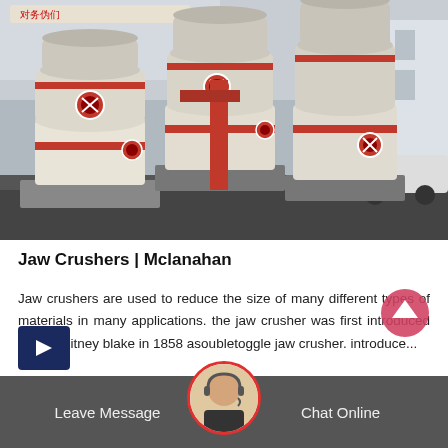[Figure (photo): Large industrial cone crushers / milling machines (white with red accents) staged in an outdoor yard, with a building and a person visible in the background.]
Jaw Crushers | Mclanahan
Jaw crushers are used to reduce the size of many different types of materials in many applications. the jaw crusher was first introduced by eli whitney blake in 1858 asoubletoggle jaw crusher. introduce...
[Figure (other): Dark blue arrow button pointing right]
[Figure (other): Scroll-to-top pink/red circular button with upward arrow]
Leave Message   Chat Online